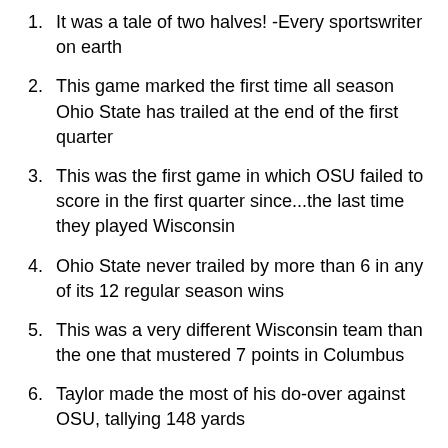It was a tale of two halves! -Every sportswriter on earth
This game marked the first time all season Ohio State has trailed at the end of the first quarter
This was the first game in which OSU failed to score in the first quarter since...the last time they played Wisconsin
Ohio State never trailed by more than 6 in any of its 12 regular season wins
This was a very different Wisconsin team than the one that mustered 7 points in Columbus
Taylor made the most of his do-over against OSU, tallying 148 yards
89 of his yards came on two big plays, with OSU